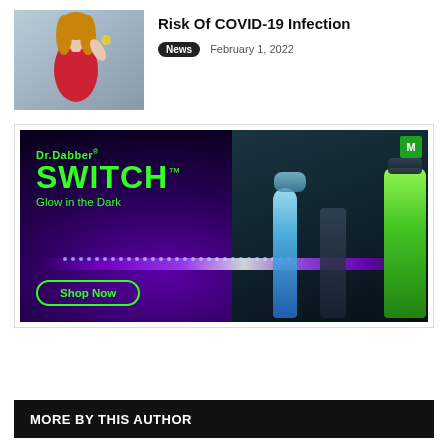[Figure (photo): Woman in red dress holding something, article thumbnail image]
Risk Of COVID-19 Infection
News   February 1, 2022
[Figure (photo): Dr.Dabber SWITCH Glow in the Dark advertisement with glowing devices on dark background, Shop Now button]
MORE BY THIS AUTHOR